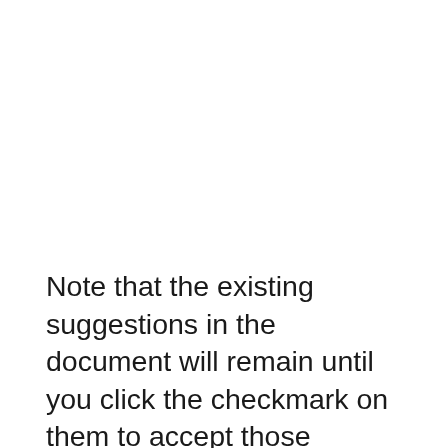Note that the existing suggestions in the document will remain until you click the checkmark on them to accept those changes.
Do you often use the version feature in Google Docs, and would like a simpler way to identify the various versions of your documents? Find